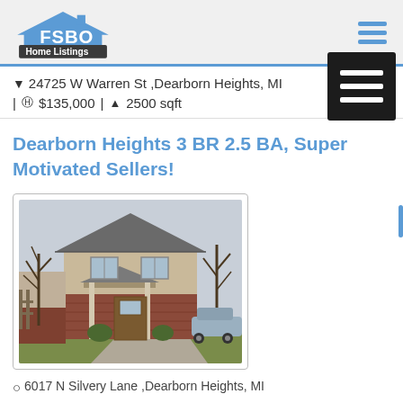FSBO Home Listings
24725 W Warren St ,Dearborn Heights, MI | $135,000 | 2500 sqft
Dearborn Heights 3 BR 2.5 BA, Super Motivated Sellers!
[Figure (photo): Exterior photo of a two-story house with brick lower facade, covered front porch with columns, bare trees, and a car visible to the right]
6017 N Silvery Lane ,Dearborn Heights, MI